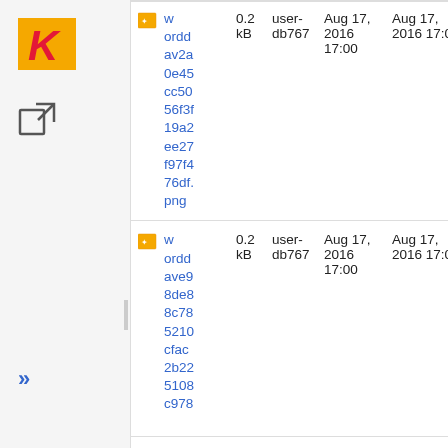[Figure (logo): Kodak logo: orange square with red italic K]
| Name | Size | User | Date (created) | Date (modified) | Label |
| --- | --- | --- | --- | --- | --- |
| worddav2a0e45cc5056f3f19a2ee27f97f476df.png | 0.2 kB | user-db767 | Aug 17, 2016 17:00 | Aug 17, 2016 17:00 | No label |
| worddave98de88c785210cfac2b225108c978...png | 0.2 kB | user-db767 | Aug 17, 2016 17:00 | Aug 17, 2016 17:00 | No label |